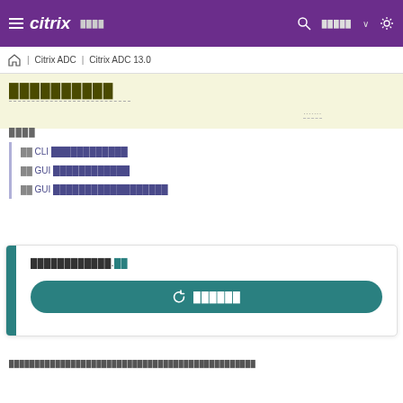≡ citrix  ████  🔍 █████ ✦
🏠 | Citrix ADC | Citrix ADC 13.0
██████████
████
██ CLI ██████████
██ GUI ██████████
██ GUI ██████████████
████████████.██
↻ ██████
████████████████████████████████████████████